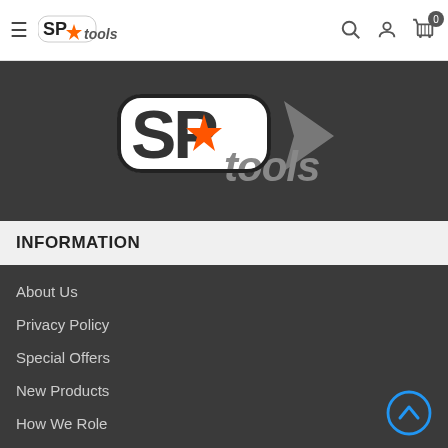SP Tools navigation bar with hamburger menu, logo, search, user, and cart icons
[Figure (logo): SP Tools large logo on dark background banner]
INFORMATION
About Us
Privacy Policy
Special Offers
New Products
How We Role
MY ACCOUNT